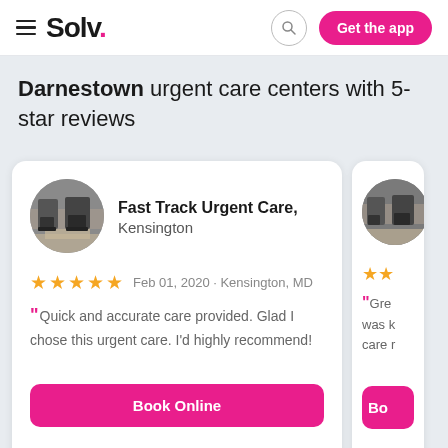Solv. | Get the app
Darnestown urgent care centers with 5-star reviews
Fast Track Urgent Care, Kensington · ★★★★★ Feb 01, 2020 · Kensington, MD · Quick and accurate care provided. Glad I chose this urgent care. I'd highly recommend! · Book Online